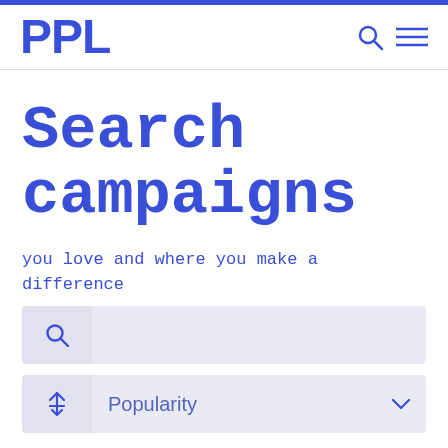PPL
Search campaigns
you love and where you make a difference
[Figure (screenshot): Search input bar with magnifying glass icon on the left and empty text field on the right]
[Figure (screenshot): Sort dropdown bar with up-down arrow icon on the left and 'Popularity' label with chevron on the right]